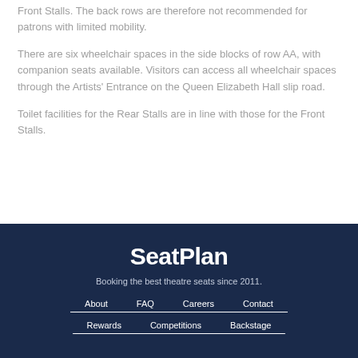Front Stalls. The back rows are therefore not recommended for patrons with limited mobility.
There are six wheelchair spaces in the side blocks of row AA, with companion seats available. Visitors can access all wheelchair spaces through the Artists' Entrance on the Queen Elizabeth Hall slip road.
Toilet facilities for the Rear Stalls are in line with those for the Front Stalls.
SeatPlan
Booking the best theatre seats since 2011.
About  FAQ  Careers  Contact
Rewards  Competitions  Backstage